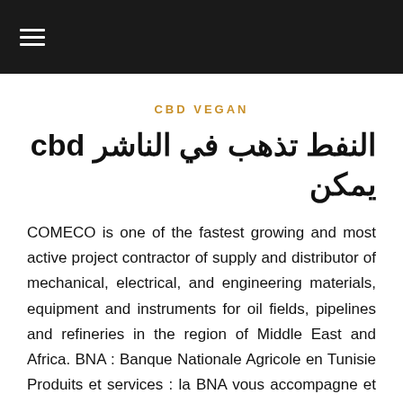≡
CBD VEGAN
النفط تذهب في الناشر cbd يمكن
COMECO is one of the fastest growing and most active project contractor of supply and distributor of mechanical, electrical, and engineering materials, equipment and instruments for oil fields, pipelines and refineries in the region of Middle East and Africa. BNA : Banque Nationale Agricole en Tunisie Produits et services : la BNA vous accompagne et vous soutient pour vos projets présents et futurs. Nous vous porposons des produits et des services personnalisés à vos besoins et qui vous suivront tout au long de l'évolution de vos projets. Contact us ar | AlKindi Specialised Hospital Al Kindi Specialised Hospital